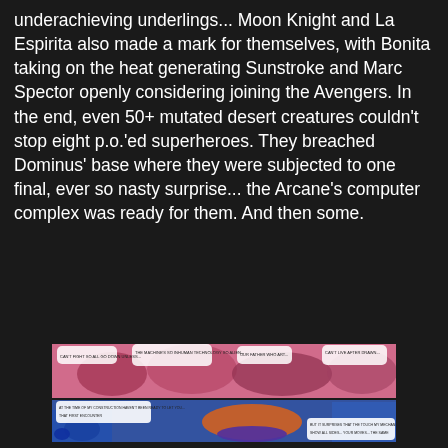underachieving underlings... Moon Knight and La Espirita also made a mark for themselves, with Bonita taking on the heat generating Sunstroke and Marc Spector openly considering joining the Avengers. In the end, even 50+ mutated desert creatures couldn't stop eight p.o.'ed superheroes. They breached Dominus' base where they were subjected to one final, ever so nasty surprise... the Arcane's computer complex was ready for them. And then some.
[Figure (illustration): Two-panel Marvel comic book art. Top panel: a chaotic battle scene with multiple superhero and villain figures fighting amid pink/magenta tones with speech bubbles. Bottom panel: a villain in orange and purple costume (Dominus) in a high-tech blue computer complex setting, with speech bubbles.]